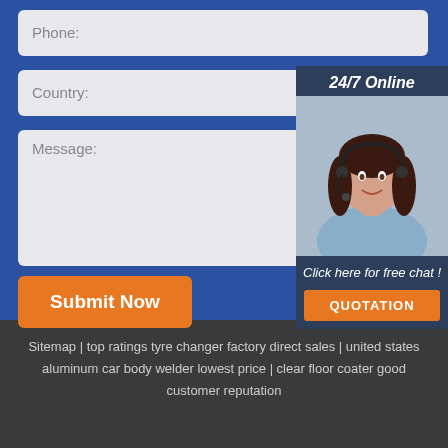Phone:
Country:
Message:
Submit Now
[Figure (illustration): 24/7 Online chat widget showing a smiling female customer service agent with headset, dark header with '24/7 Online', footer with 'Click here for free chat!' and an orange QUOTATION button]
Sitemap | top ratings tyre changer factory direct sales | united states aluminum car body welder lowest price | clear floor coater good customer reputation